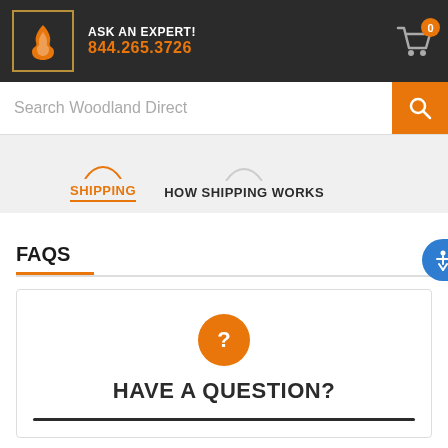ASK AN EXPERT! 844.265.3726
Search Woodland Direct
SHIPPING  HOW SHIPPING WORKS
FAQS
HAVE A QUESTION?